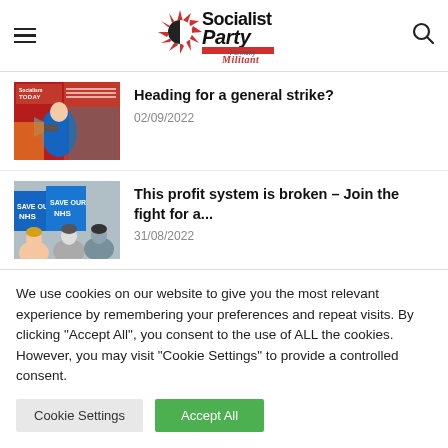[Figure (logo): Socialist Party logo with red sunburst graphic and 'Formerly Militant' text]
[Figure (photo): Thumbnail of Socialism Today magazine cover with protesters, megaphone user]
Heading for a general strike?
02/09/2022
[Figure (photo): Thumbnail of NHS protest with people holding Save Our NHS signs]
This profit system is broken – Join the fight for a...
31/08/2022
We use cookies on our website to give you the most relevant experience by remembering your preferences and repeat visits. By clicking "Accept All", you consent to the use of ALL the cookies. However, you may visit "Cookie Settings" to provide a controlled consent.